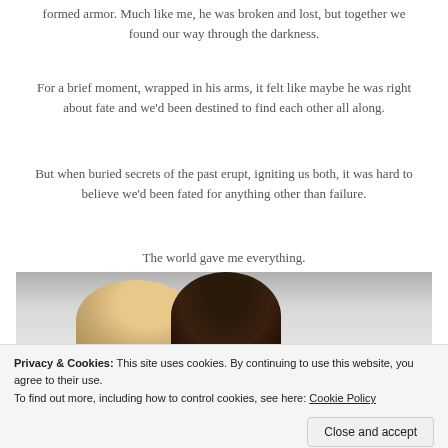formed armor. Much like me, he was broken and lost, but together we found our way through the darkness.
For a brief moment, wrapped in his arms, it felt like maybe he was right about fate and we'd been destined to find each other all along.
But when buried secrets of the past erupt, igniting us both, it was hard to believe we'd been fated for anything other than failure.
The world gave me everything.
And then it took it all away.
[Figure (photo): A couple embracing, a woman with light hair and a man with dark hair, against a snowy background.]
Privacy & Cookies: This site uses cookies. By continuing to use this website, you agree to their use.
To find out more, including how to control cookies, see here: Cookie Policy
Close and accept